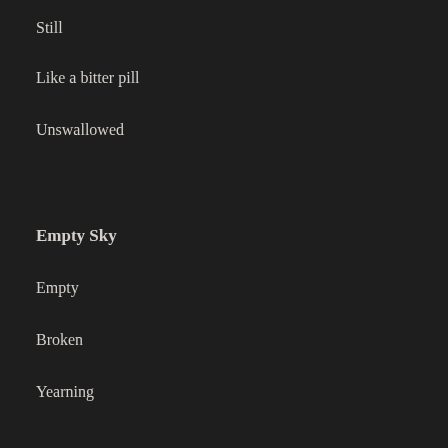Still
Like a bitter pill
Unswallowed
Empty Sky
Empty
Broken
Yearning